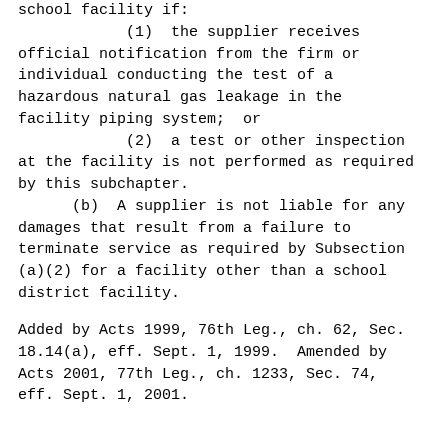school facility if:
            (1)  the supplier receives official notification from the firm or individual conducting the test of a hazardous natural gas leakage in the facility piping system;  or
            (2)  a test or other inspection at the facility is not performed as required by this subchapter.
      (b)  A supplier is not liable for any damages that result from a failure to terminate service as required by Subsection (a)(2) for a facility other than a school district facility.
Added by Acts 1999, 76th Leg., ch. 62, Sec. 18.14(a), eff. Sept. 1, 1999.  Amended by Acts 2001, 77th Leg., ch. 1233, Sec. 74, eff. Sept. 1, 2001.